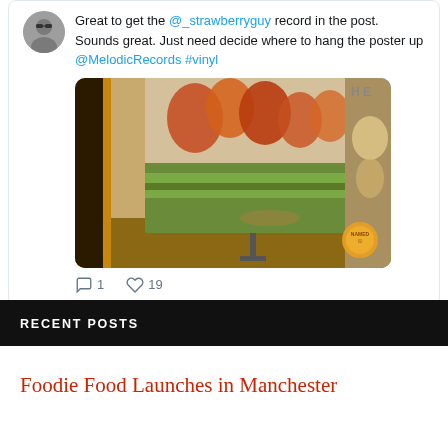Great to get the @_strawberryguy record in the post. Sounds great. Just need decide where to hang the poster up @MelodicRecords #vinyl
[Figure (photo): Photo of vinyl record album covers leaning against a shelf, showing impressionist-style painting artwork on front cover]
1 comment, 19 likes
RECENT POSTS
Foodie Food Launches in Manchester